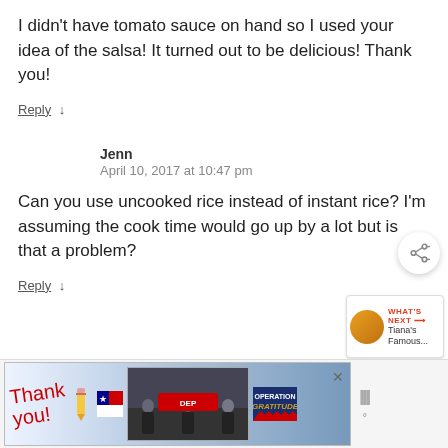I didn't have tomato sauce on hand so I used your idea of the salsa! It turned out to be delicious! Thank you!
Reply ↓
Jenn
April 10, 2017 at 10:47 pm
Can you use uncooked rice instead of instant rice? I'm assuming the cook time would go up by a lot but is that a problem?
Reply ↓
[Figure (screenshot): Advertisement banner for Operation Gratitude featuring a 'Thank you' handwritten note and firefighters photo]
[Figure (other): What's Next widget showing Tiana's Famous... with circular thumbnail]